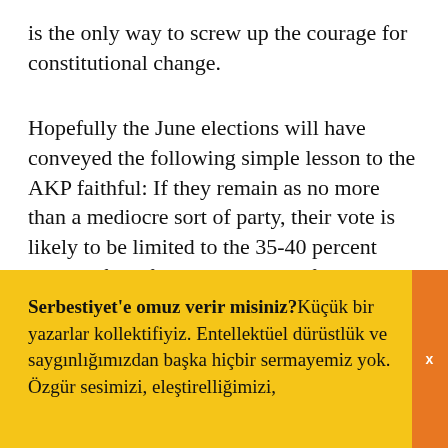is the only way to screw up the courage for constitutional change.
Hopefully the June elections will have conveyed the following simple lesson to the AKP faithful: If they remain as no more than a mediocre sort of party, their vote is likely to be limited to the 35-40 percent interval for a few more years before probably falling yet again. But if the party can renew itself and once
Serbestiyet'e omuz verir misiniz?Küçük bir yazarlar kollektifiyiz. Entellektüel dürüstlük ve saygınlığımızdan başka hiçbir sermayemiz yok. Özgür sesimizi, eleştirelliğimizi,